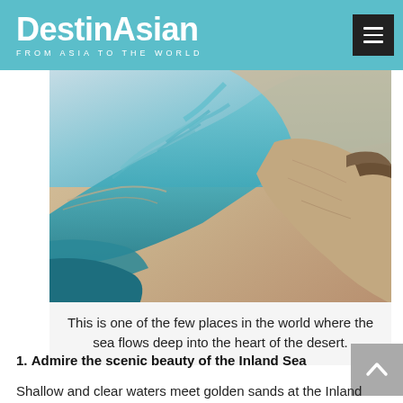DestinAsian FROM ASIA TO THE WORLD
[Figure (photo): Aerial view of the Inland Sea, Qatar — turquoise and teal sea water channels flowing into sandy desert landscape with golden-brown sand formations viewed from above.]
This is one of the few places in the world where the sea flows deep into the heart of the desert.
1. Admire the scenic beauty of the Inland Sea
Shallow and clear waters meet golden sands at the Inland